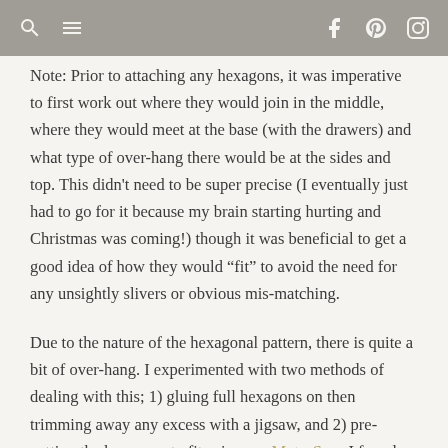[navigation icons: search, menu, facebook, pinterest, instagram]
Note: Prior to attaching any hexagons, it was imperative to first work out where they would join in the middle, where they would meet at the base (with the drawers) and what type of over-hang there would be at the sides and top. This didn't need to be super precise (I eventually just had to go for it because my brain starting hurting and Christmas was coming!) though it was beneficial to get a good idea of how they would “fit” to avoid the need for any unsightly slivers or obvious mis-matching.
Due to the nature of the hexagonal pattern, there is quite a bit of over-hang. I experimented with two methods of dealing with this; 1) gluing full hexagons on then trimming away any excess with a jigsaw, and 2) pre-cutting the hexagons to fit using my Moto-Saw. I found both methods to be effective though they each had their pros and cons. Using full hexagons was best for areas where only a small portion required trimming off, though I did find